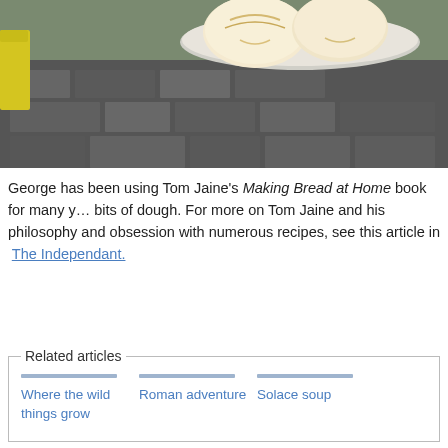[Figure (photo): Photo of bread rolls on a plate with stone/brick background, partial crop from top]
George has been using Tom Jaine's Making Bread at Home book for many years for bits of dough. For more on Tom Jaine and his philosophy and obsession with numerous recipes, see this article in The Independant.
Related articles
Where the wild things grow
Roman adventure
Solace soup
Comments (4)